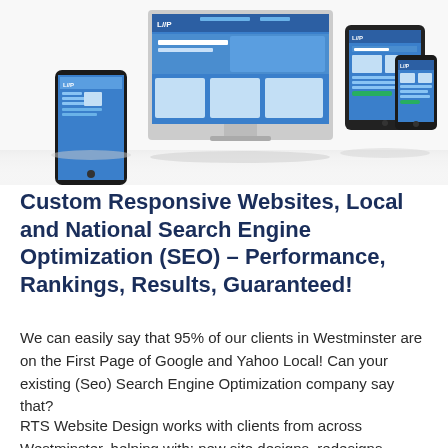[Figure (illustration): Multiple devices (smartphone, laptop/desktop monitor, tablet, and another smartphone) displaying a website with blue interface elements, arranged side by side on a reflective surface.]
Custom Responsive Websites, Local and National Search Engine Optimization (SEO) – Performance, Rankings, Results, Guaranteed!
We can easily say that 95% of our clients in Westminster are on the First Page of Google and Yahoo Local! Can your existing (Seo) Search Engine Optimization company say that?
RTS Website Design works with clients from across Westminster, helping with; new site designs, redesigns, updates, modifications, SEO and web hosting services. Our talented team of dedicated professionals will bring together your vision and ideas into reality with creativity, technology...